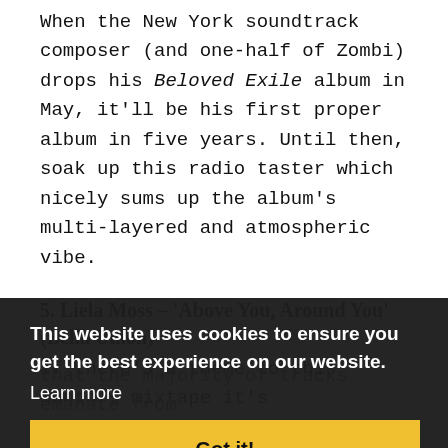When the New York soundtrack composer (and one-half of Zombi) drops his Beloved Exile album in May, it'll be his first proper album in five years. Until then, soak up this radio taster which nicely sums up the album's multi-layered and atmospheric vibe.
5. Liela Moss – 'Above You, Around You' (Bella Union)
If there's a theme to this month's mixtape it's that the majority of tracks emanate from artists new to me, one of the perks of presenting a radio show I guess. Moss, singer with Duke Spirit, is doing her own thing here on an album recorded in isolation in Somerset with her partner / producer. Reviews of My
This website uses cookies to ensure you get the best experience on our website.
Learn more
Got it!